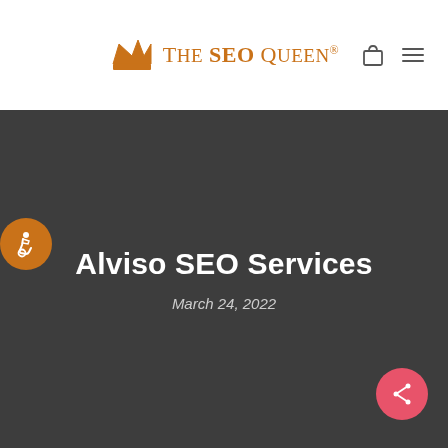[Figure (logo): The SEO Queen logo with crown icon and registered trademark symbol]
Alviso SEO Services
March 24, 2022